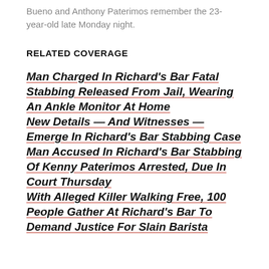Bueno and Anthony Paterimos remember the 23-year-old late Monday night.
RELATED COVERAGE
Man Charged In Richard's Bar Fatal Stabbing Released From Jail, Wearing An Ankle Monitor At Home
New Details — And Witnesses — Emerge In Richard's Bar Stabbing Case
Man Accused In Richard's Bar Stabbing Of Kenny Paterimos Arrested, Due In Court Thursday
With Alleged Killer Walking Free, 100 People Gather At Richard's Bar To Demand Justice For Slain Barista